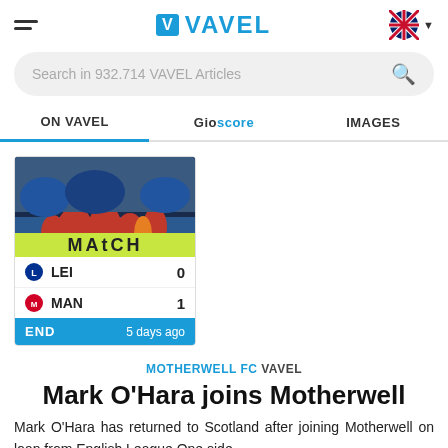VAVEL
Search in 932.714 VAVEL Articles
ON VAVEL  Gioscore  IMAGES
[Figure (screenshot): Football match card showing LEI 0 - MAN 1, END, 5 days ago, with match photo background showing players in red jerseys]
MOTHERWELL FC VAVEL
Mark O'Hara joins Motherwell
Mark O'Hara has returned to Scotland after joining Motherwell on loan from English League One side